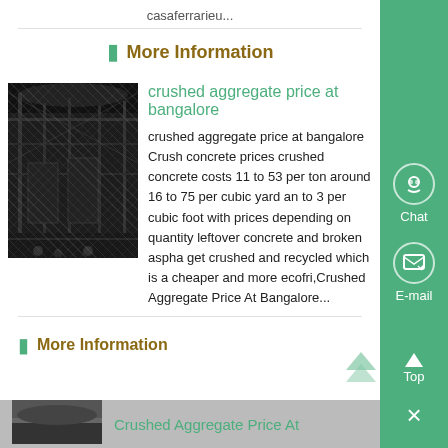casaferrarieu...
More Information
crushed aggregate price at bangalore
crushed aggregate price at bangalore Crush concrete prices crushed concrete costs 11 to 53 per ton around 16 to 75 per cubic yard and to 3 per cubic foot with prices depending on quantity leftover concrete and broken aspha get crushed and recycled which is a cheaper and more ecofri,Crushed Aggregate Price At Bangalore...
More Information
Crushed Aggregate Price At